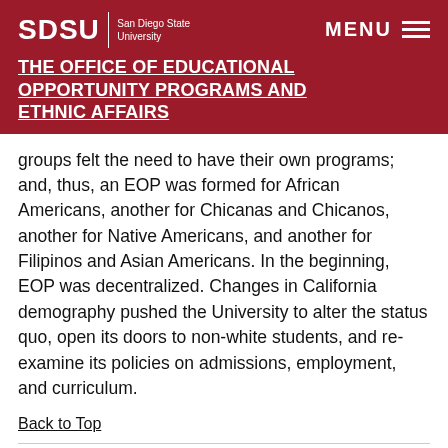SDSU | San Diego State University
THE OFFICE OF EDUCATIONAL OPPORTUNITY PROGRAMS AND ETHNIC AFFAIRS
groups felt the need to have their own programs; and, thus, an EOP was formed for African Americans, another for Chicanas and Chicanos, another for Native Americans, and another for Filipinos and Asian Americans. In the beginning, EOP was decentralized. Changes in California demography pushed the University to alter the status quo, open its doors to non-white students, and re-examine its policies on admissions, employment, and curriculum.
Back to Top
A Decade of Consolidation, Growth, and Continuing Struggle - 1970s